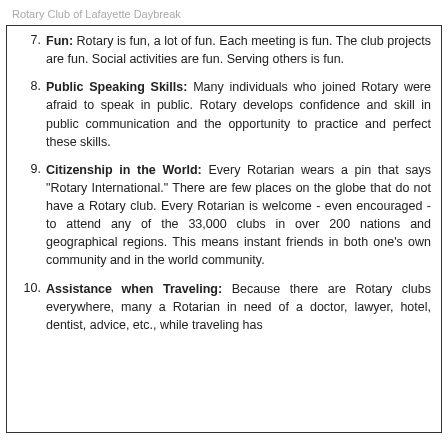Rotary Club of Lafayette Daybreak
Fun: Rotary is fun, a lot of fun. Each meeting is fun. The club projects are fun. Social activities are fun. Serving others is fun.
Public Speaking Skills: Many individuals who joined Rotary were afraid to speak in public. Rotary develops confidence and skill in public communication and the opportunity to practice and perfect these skills.
Citizenship in the World: Every Rotarian wears a pin that says "Rotary International." There are few places on the globe that do not have a Rotary club. Every Rotarian is welcome - even encouraged - to attend any of the 33,000 clubs in over 200 nations and geographical regions. This means instant friends in both one's own community and in the world community.
Assistance when Traveling: Because there are Rotary clubs everywhere, many a Rotarian in need of a doctor, lawyer, hotel, dentist, advice, etc., while traveling has